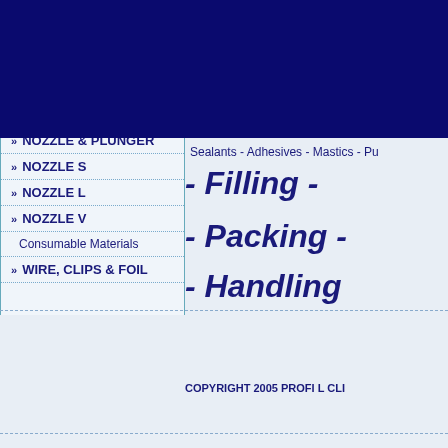SKT / H8 2K
FURTHER MACHINES
Case Packer
SP1
Tools
NOZZLE & PLUNGER
NOZZLE S
NOZZLE L
NOZZLE V
Consumable Materials
WIRE, CLIPS & FOIL
[Figure (other): Dark navy blue banner/logo image]
Sealants - Adhesives - Mastics - Pu
- Filling -
- Packing -
- Handling -
COPYRIGHT 2005 PROFI L CLI